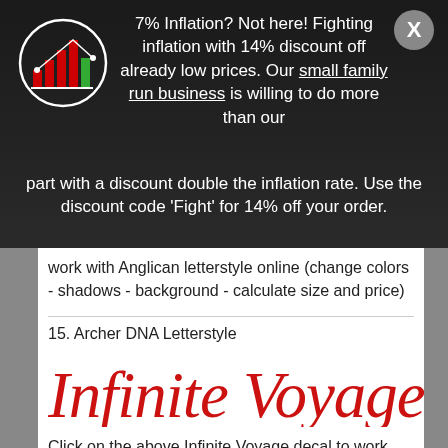[Figure (logo): Bar chart logo icon inside a circle, with red and green bars]
7% Inflation? Not here! Fighting inflation with 14% discount off already low prices. Our small family run business is willing to do more than our part with a discount double the inflation rate. Use the discount code 'Fight' for 14% off your order.
work with Anglican letterstyle online (change colors - shadows - background - calculate size and price)
15. Archer DNA Letterstyle
[Figure (illustration): Cursive script text reading 'Infinite Voyage' in red italic handwriting font]
Click on the above Infinite Voyage decal to work with Archer DNA letterstyle online